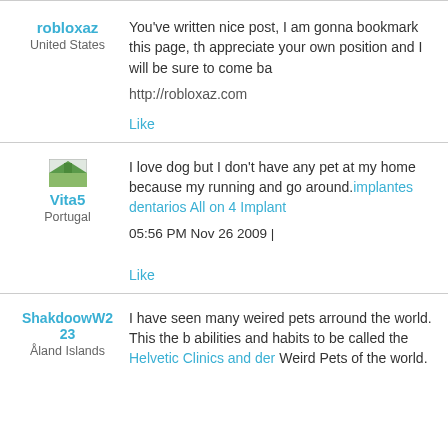robloxaz
United States
You've written nice post, I am gonna bookmark this page, th appreciate your own position and I will be sure to come ba
http://robloxaz.com
Like
[Figure (illustration): Small thumbnail image for user Vita5]
Vita5
Portugal
I love dog but I don't have any pet at my home because my running and go around. implantes dentarios All on 4 Implant
05:56 PM Nov 26 2009 |
Like
ShakdoowW223
Åland Islands
I have seen many weired pets arround the world. This the b abilities and habits to be called the Helvetic Clinics and der Weird Pets of the world.